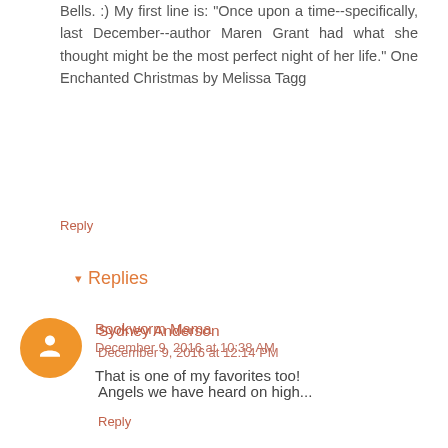Bells. :) My first line is: "Once upon a time--specifically, last December--author Maren Grant had what she thought might be the most perfect night of her life." One Enchanted Christmas by Melissa Tagg
Reply
▾ Replies
Bookworm Mama
December 9, 2016 at 10:38 AM
That is one of my favorites too!
Sydney Anderson
December 9, 2016 at 12:14 PM
Angels we have heard on high...
Reply